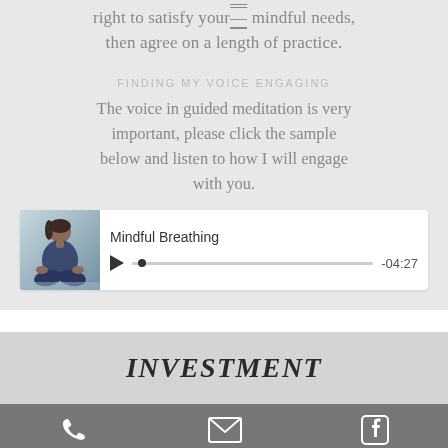right to satisfy your mindful needs, then agree on a length of practice.
FINDING MY VOICE ENGAGING
The voice in guided meditation is very important, please click the sample below and listen to how I will engage with you.
[Figure (screenshot): Audio player widget showing a photo of a woman meditating, with title 'Mindful Breathing', a play button, progress bar with dot, and time display '-04:27']
INVESTMENT
[Figure (infographic): Footer bar with phone icon, email icon, and Facebook icon on gray background]